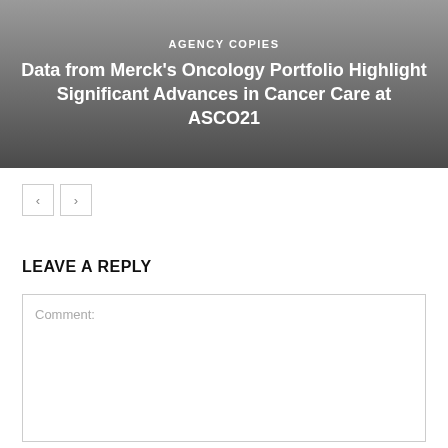[Figure (other): Hero banner with gradient gray background containing category label and article title]
AGENCY COPIES
Data from Merck’s Oncology Portfolio Highlight Significant Advances in Cancer Care at ASCO21
< >  navigation buttons
LEAVE A REPLY
Comment: